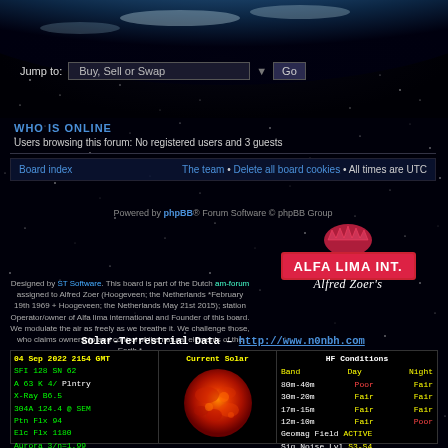[Figure (illustration): Earth and space background image with blue planet and stars]
WHO IS ONLINE
Users browsing this forum: No registered users and 3 guests
Board index    The team • Delete all board cookies • All times are UTC
Powered by phpBB® Forum Software © phpBB Group
[Figure (logo): Alfa Lima Int. Alfred Zoer's logo with crown emblem on red background]
Designed by ST Software. This board is part of the Dutch am-forum assigned to Alfred Zoer (Hoogeveen; the Netherlands *February 19th 1969 + Hoogeveen; the Netherlands May 21st 2015); station Operator/owner of Alfa lima international and Founder of this board. We modulate the air as freely as we breathe it. We challenge those, who claims ownership and control of the natural elements of the Earth.*
Solar-Terrestrial Data - http://www.n0nbh.com
| Solar Data | Current Solar | HF Conditions |
| --- | --- | --- |
| 04 Sep 2022 2154 GMT |  | Band  Day  Night |
| SFI 128  SN  62 |  | 80m-40m  Poor  Fair |
| A 63  K 4/  Plntry |  | 30m-20m  Fair  Fair |
| X-Ray B6.5 |  | 17m-15m  Fair  Fair |
| 304A  124.4 @ SEM |  | 12m-10m  Fair  Poor |
| Ptn Flx  94 |  | Geomag Field ACTIVE |
| Elc Flx  1180 |  | Sig Noise Lvl  S3-S4 |
| Aurora  3/n=1.99 |  | (C) Paul L Herrman 2021 |
| MUF Boulder  NoRpt |  |  |